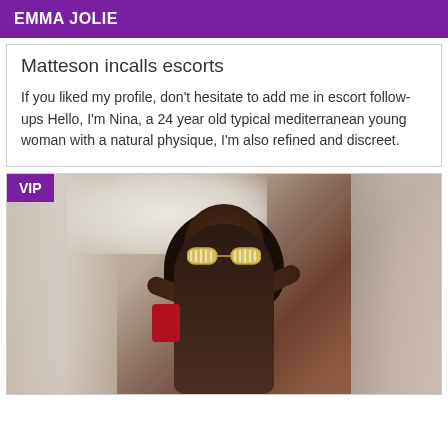EMMA JOLIE
Matteson incalls escorts
If you liked my profile, don't hesitate to add me in escort follow-ups Hello, I'm Nina, a 24 year old typical mediterranean young woman with a natural physique, I'm also refined and discreet.
[Figure (photo): Woman taking a selfie wearing sunglasses in front of blurred architectural background, with VIP badge in top-left corner]